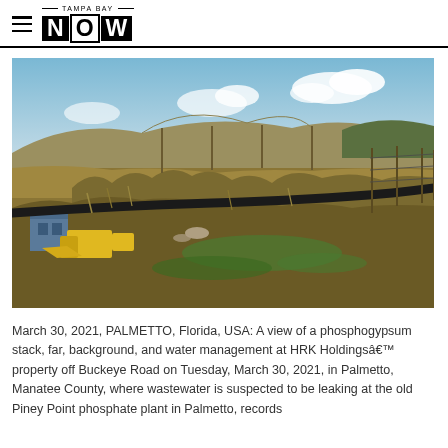TAMPA BAY NOW
[Figure (photo): Outdoor view of a phosphogypsum stack in background with water management infrastructure including yellow equipment/gates at HRK Holdings property off Buckeye Road, Palmetto, Manatee County, Florida. Green algae-covered water visible, large black pipe running across the landscape.]
March 30, 2021, PALMETTO, Florida, USA: A view of a phosphogypsum stack, far, background, and water management at HRK Holdingsâ€™ property off Buckeye Road on Tuesday, March 30, 2021, in Palmetto, Manatee County, where wastewater is suspected to be leaking at the old Piney Point phosphate plant in Palmetto, records